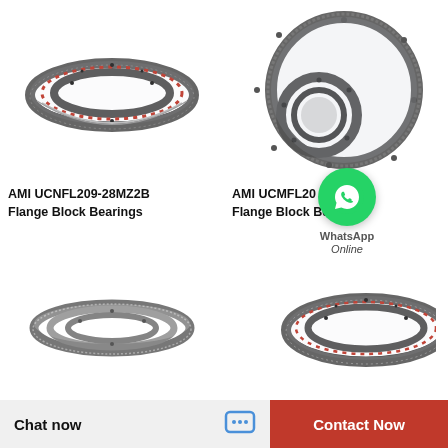[Figure (photo): AMI UCNFL209-28MZ2B slewing ring bearing with red and black ball elements visible on the raceway, oblique view on white background]
AMI UCNFL209-28MZ2B
Flange Block Bearings
[Figure (photo): AMI UCMFL20x-xMZ2 slewing ring bearing with external gear teeth and smaller inner ring, two rings shown on white background]
AMI UCMFL20x-xMZ2
Flange Block Bearings
[Figure (illustration): WhatsApp contact button overlay showing green WhatsApp logo with text WhatsApp Online]
[Figure (photo): Thin-section slewing ring bearing shown as three concentric rings with gear teeth on outer edge, top-down view]
[Figure (photo): Slewing ring bearing similar to top-left with red and black ball elements on raceway, partially cropped]
Chat now
Contact Now